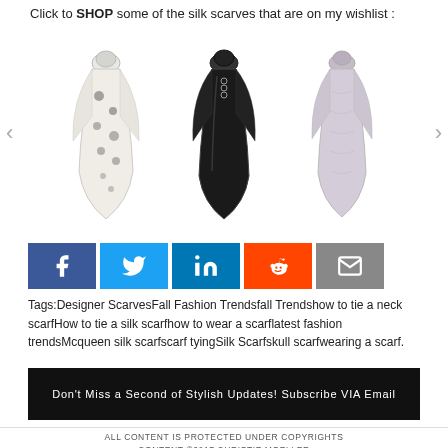Click to SHOP some of the silk scarves that are on my wishlist :
[Figure (photo): Three silk scarves displayed: a white scarf with dark spots/skull pattern (left), a black silk scarf (center), and a grey/lavender silk scarf (right), with left and right carousel navigation arrows]
[Figure (infographic): Social media sharing buttons: Facebook (blue), Twitter (light blue), LinkedIn (blue), Reddit (orange), Email (grey)]
Tags:Designer ScarvesFall Fashion Trendsfall Trendshow to tie a neck scarfHow to tie a silk scarfhow to wear a scarflatest fashion trendsMcqueen silk scarfscarf tyingSilk Scarfskull scarfwearing a scarf.
Don't Miss a Second of Stylish Updates! Subscribe VIA Email
ALL CONTENT IS PROTECTED UNDER COPYRIGHTS CONTENT ©2017 CHRISTIE MOELLER